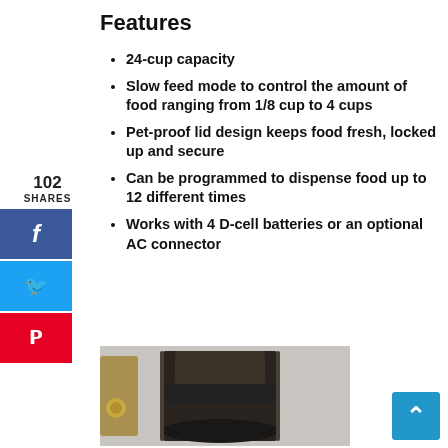Features
24-cup capacity
Slow feed mode to control the amount of food ranging from 1/8 cup to 4 cups
Pet-proof lid design keeps food fresh, locked up and secure
Can be programmed to dispense food up to 12 different times
Works with 4 D-cell batteries or an optional AC connector
[Figure (photo): Photo of an automatic pet feeder device, dark/brown colored, shown against a light background with some gold-colored object visible on the left side.]